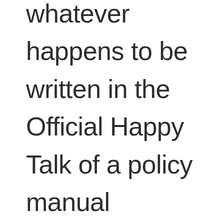whatever happens to be written in the Official Happy Talk of a policy manual somewhere?

Spokeswoman